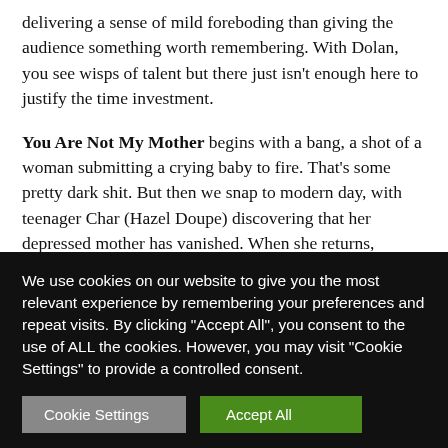delivering a sense of mild foreboding than giving the audience something worth remembering. With Dolan, you see wisps of talent but there just isn't enough here to justify the time investment.
You Are Not My Mother begins with a bang, a shot of a woman submitting a crying baby to fire. That's some pretty dark shit. But then we snap to modern day, with teenager Char (Hazel Doupe) discovering that her depressed mother has vanished. When she returns, something is off, different, and Char begins to suspect others in her family may know...
We use cookies on our website to give you the most relevant experience by remembering your preferences and repeat visits. By clicking "Accept All", you consent to the use of ALL the cookies. However, you may visit "Cookie Settings" to provide a controlled consent.